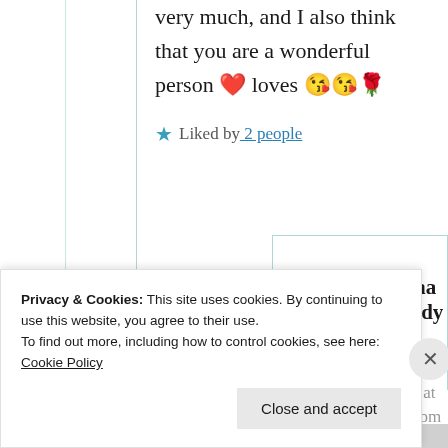very much, and I also think that you are a wonderful person ❤️ loves 😘😘🌹
★ Liked by 2 people
Suma Reddy
24th Aug 2021 at 8:07 pm
Privacy & Cookies: This site uses cookies. By continuing to use this website, you agree to their use.
To find out more, including how to control cookies, see here: Cookie Policy
Close and accept